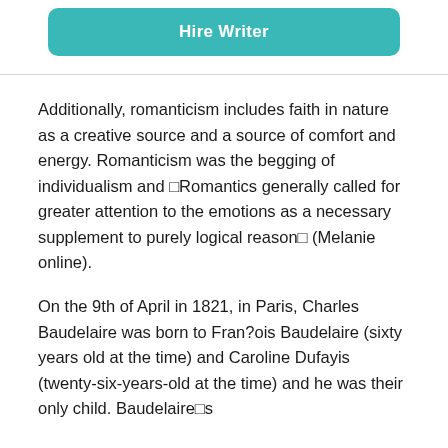[Figure (other): Teal/turquoise rounded button labeled 'Hire Writer']
Additionally, romanticism includes faith in nature as a creative source and a source of comfort and energy. Romanticism was the begging of individualism and □Romantics generally called for greater attention to the emotions as a necessary supplement to purely logical reason□ (Melanie online).
On the 9th of April in 1821, in Paris, Charles Baudelaire was born to Fran?ois Baudelaire (sixty years old at the time) and Caroline Dufayis (twenty-six-years-old at the time) and he was their only child. Baudelaire□s